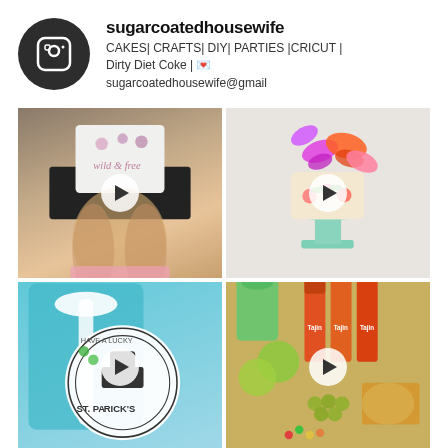[Figure (screenshot): Instagram profile header with avatar icon and username sugarcoatedhousewife, bio: CAKES| CRAFTS| DIY| PARTIES |CRICUT | Dirty Diet Coke | 💌 sugarcoatedhousewife@gmail]
[Figure (photo): Grid of 4 Instagram posts: woman wearing trucker hat with floral design, butterfly cake on mint green stand, St. Patrick's Day gift bag, food/snack spread with Tajin bottles]
[Figure (infographic): Social share bar with Twitter, LinkedIn, Pinterest, Facebook buttons and share count of 267]